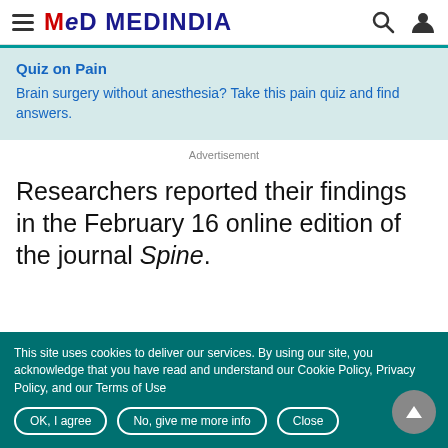MEDINDIA
Quiz on Pain
Brain surgery without anesthesia? Take this pain quiz and find answers.
Advertisement
Researchers reported their findings in the February 16 online edition of the journal Spine.
This site uses cookies to deliver our services. By using our site, you acknowledge that you have read and understand our Cookie Policy, Privacy Policy, and our Terms of Use